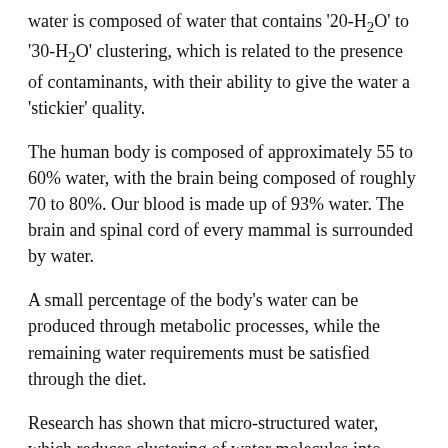water is composed of water that contains '20-H2O' to '30-H2O' clustering, which is related to the presence of contaminants, with their ability to give the water a 'stickier' quality.
The human body is composed of approximately 55 to 60% water, with the brain being composed of roughly 70 to 80%. Our blood is made up of 93% water. The brain and spinal cord of every mammal is surrounded by water.
A small percentage of the body's water can be produced through metabolic processes, while the remaining water requirements must be satisfied through the diet.
Research has shown that micro-structured water, which reduces clustering of water molecules into smaller, '5-H2O' or '6-H2O' clusters, more easily penetrates cell membranes, increasing hydration and thereby improving cell metabolic functions. Dissolved substances in water increase the size of